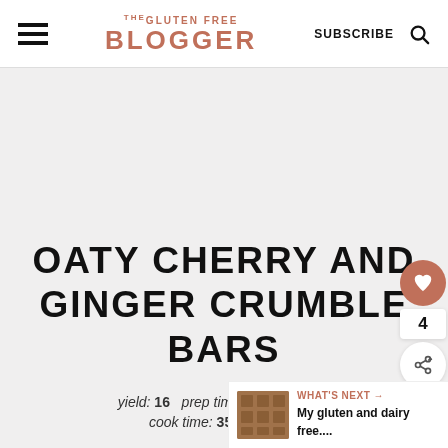THE GLUTEN FREE BLOGGER | SUBSCRIBE
OATY CHERRY AND GINGER CRUMBLE BARS
yield: 16  prep time: 30 MINUTES
cook time: 35 MINUTES
WHAT'S NEXT → My gluten and dairy free....